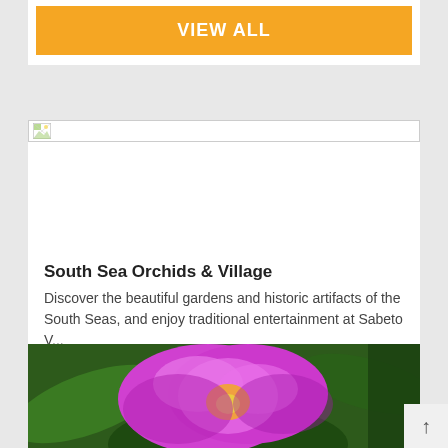VIEW ALL
[Figure (photo): Broken image placeholder icon]
South Sea Orchids & Village
Discover the beautiful gardens and historic artifacts of the South Seas, and enjoy traditional entertainment at Sabeto V...
DETAILS
[Figure (photo): Close-up photograph of vibrant purple/magenta orchid flowers with green leaves in background]